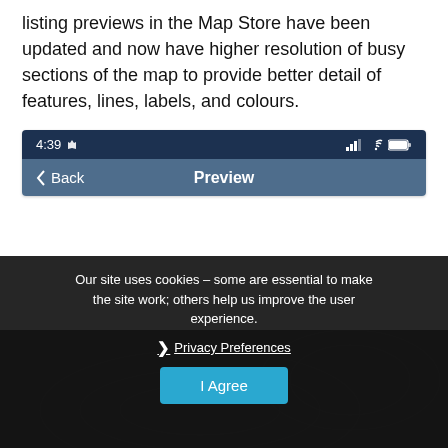listing previews in the Map Store have been updated and now have higher resolution of busy sections of the map to provide better detail of features, lines, labels, and colours.
[Figure (screenshot): Mobile app screenshot showing a navigation bar with back button and 'Preview' title, and a dark cookie consent overlay with 'Privacy Preferences' link and 'I Agree' button]